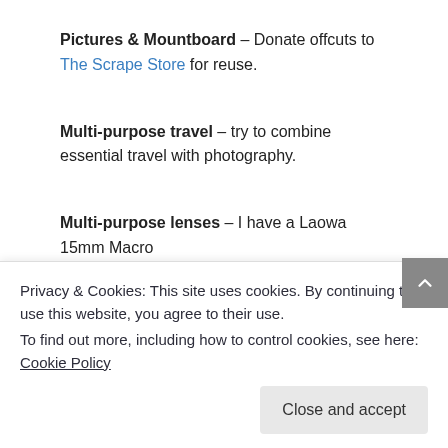Pictures & Mountboard – Donate offcuts to The Scrape Store for reuse.
Multi-purpose travel – try to combine essential travel with photography.
Multi-purpose lenses – I have a Laowa 15mm Macro lens. A hybrid lens is a wide angle and more...
are out with friends with the same camera system.
Privacy & Cookies: This site uses cookies. By continuing to use this website, you agree to their use.
To find out more, including how to control cookies, see here: Cookie Policy